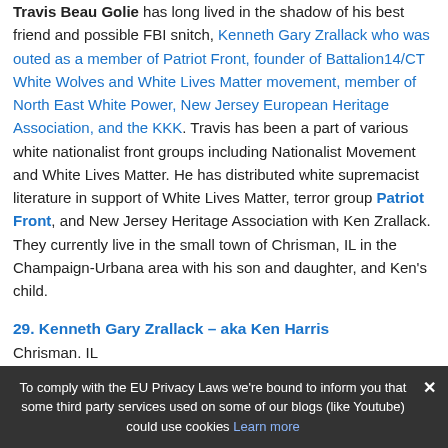Travis Beau Golie has long lived in the shadow of his best friend and possible FBI snitch, Kenneth Gary Zrallack who was outed as a member of Patriot Front, founder of Battalion14/CT White Wolves and White Lives Matter movement, member of North East White Power, New Jersey European Heritage Association, and the KKK. Travis has been a part of various white nationalist front groups including Nationalist Movement and White Lives Matter. He has distributed white supremacist literature in support of White Lives Matter, terror group Patriot Front, and New Jersey Heritage Association with Ken Zrallack. They currently live in the small town of Chrisman, IL in the Champaign-Urbana area with his son and daughter, and Ken's child.
29. Kenneth Gary Zrallack – aka Ken Harris
Chrisman, IL
To comply with the EU Privacy Laws we're bound to inform you that some third party services used on some of our blogs (like Youtube) could use cookies Learn more